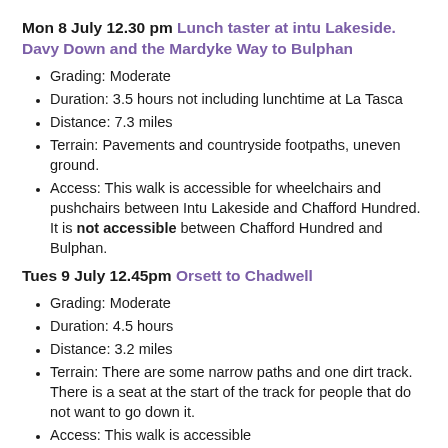Mon 8 July 12.30 pm Lunch taster at intu Lakeside. Davy Down and the Mardyke Way to Bulphan
Grading: Moderate
Duration: 3.5 hours not including lunchtime at La Tasca
Distance: 7.3 miles
Terrain: Pavements and countryside footpaths, uneven ground.
Access: This walk is accessible for wheelchairs and pushchairs between Intu Lakeside and Chafford Hundred. It is not accessible between Chafford Hundred and Bulphan.
Tues 9 July 12.45pm Orsett to Chadwell
Grading: Moderate
Duration: 4.5 hours
Distance: 3.2 miles
Terrain: There are some narrow paths and one dirt track. There is a seat at the start of the track for people that do not want to go down it.
Access: This walk is accessible...